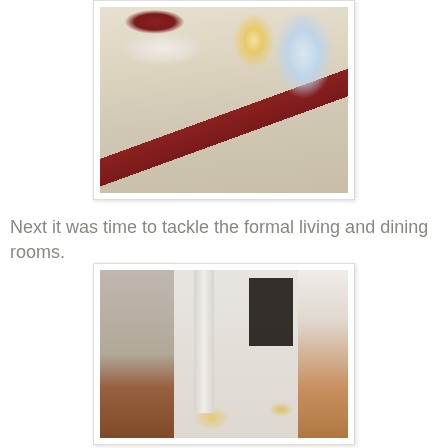[Figure (photo): Interior photo of a bedroom showing a bed with cream floral embroidered bedding, red decorative pillows, a white bolster pillow, a red throw blanket on the right side, a lamp, framed artwork on the wall, and window light in the background.]
Next it was time to tackle the formal living and dining rooms.
[Figure (photo): Interior photo of an empty formal living and dining room with taupe/grey walls, white crown molding and chair rail trim, white columns, hardwood floors with sunlight reflections, and a doorway visible in the background.]